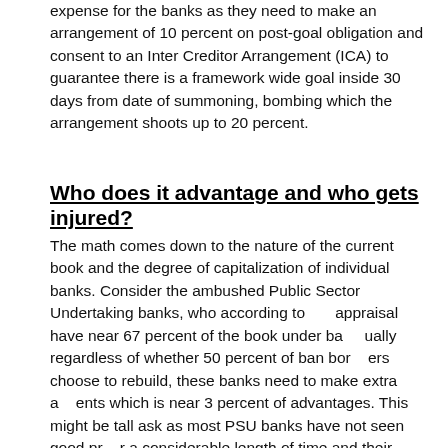expense for the banks as they need to make an arrangement of 10 percent on post-goal obligation and consent to an Inter Creditor Arrangement (ICA) to guarantee there is a framework wide goal inside 30 days from date of summoning, bombing which the arrangement shoots up to 20 percent.
Who does it advantage and who gets injured?
The math comes down to the nature of the current book and the degree of capitalization of individual banks. Consider the ambushed Public Sector Undertaking banks, who according to appraisal have near 67 percent of the book under ban ually regardless of whether 50 percent of ban borrowers choose to rebuild, these banks need to make extra adjustments which is near 3 percent of advantages. This might be tall ask as most PSU banks have not seen good profit for a considerable length of time and their capital positions scarcely over the administrative edge. This would call for dire capital imbuement and would regardless weaken their capacity to absorb during the field all the more so of
[Figure (infographic): Three social media sharing icons overlaid on the text: Telegram (blue circle with paper plane), Twitter (blue circle with bird), and a close/X button (purple circle with X mark)]